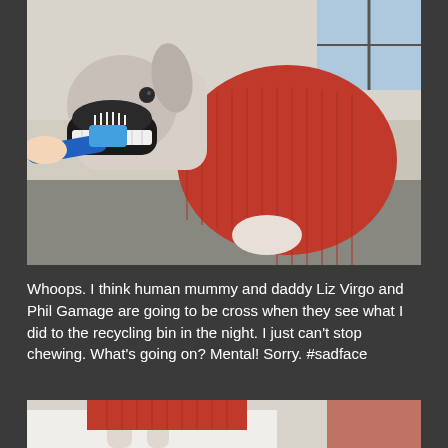[Figure (photo): A greyhound dog wearing a red knitted sweater having its teeth brushed with a blue toothbrush. The dog has its mouth open and is being held. A window is visible in the background.]
Whoops. I think human mummy and daddy Liz Virgo and Phil Gamage are going to be cross when they see what I did to the recycling bin in the night. I just can't stop chewing. What's going on? Mental! Sorry. #sadface
[Figure (photo): Partial view of the same greyhound dog wearing a red sweater, cropped at the bottom of the page.]